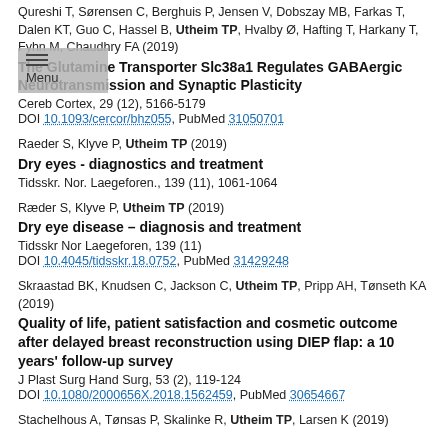Qureshi T, Sørensen C, Berghuis P, Jensen V, Dobszay MB, Farkas T, Dalen KT, Guo C, Hassel B, Utheim TP, Hvalby Ø, Hafting T, Harkany T, Fyhn M, Chaudhry FA (2019)
The Glutamine Transporter Slc38a1 Regulates GABAergic Neurotransmission and Synaptic Plasticity
Cereb Cortex, 29 (12), 5166-5179
DOI 10.1093/cercor/bhz055, PubMed 31050701
Raeder S, Klyve P, Utheim TP (2019)
Dry eyes - diagnostics and treatment
Tidsskr. Nor. Laegeforen., 139 (11), 1061-1064
Ræder S, Klyve P, Utheim TP (2019)
Dry eye disease – diagnosis and treatment
Tidsskr Nor Laegeforen, 139 (11)
DOI 10.4045/tidsskr.18.0752, PubMed 31429248
Skraastad BK, Knudsen C, Jackson C, Utheim TP, Pripp AH, Tønseth KA (2019)
Quality of life, patient satisfaction and cosmetic outcome after delayed breast reconstruction using DIEP flap: a 10 years' follow-up survey
J Plast Surg Hand Surg, 53 (2), 119-124
DOI 10.1080/2000656X.2018.1562459, PubMed 30654667
Stachelhous A, Tønsas P, Skalinke R, Utheim TP, Larsen K (2019)